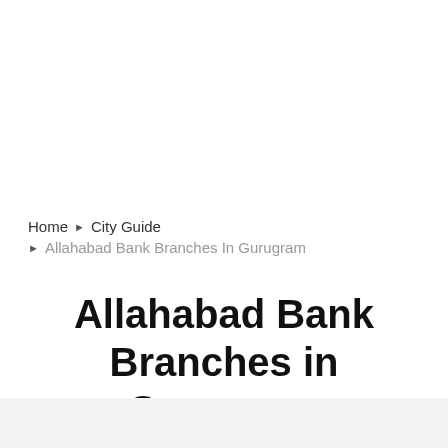Home ▶ City Guide
▶ Allahabad Bank Branches In Gurugram
Allahabad Bank Branches in Gurugram